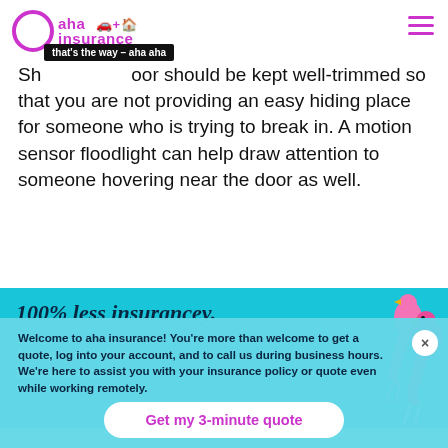[Figure (logo): aha insurance logo with circle, car and house icons, and 'that's the way – aha aha' tagline badge]
Shrubbery near your door should be kept well-trimmed so that you are not providing an easy hiding place for someone who is trying to break in. A motion sensor floodlight can help draw attention to someone hovering near the door as well.
[Figure (illustration): aha insurance promotional banner: '100% less insurancey. Low guaranteed car insurance rates!' on cyan background with pink flamingo illustration]
Welcome to aha insurance! You're more than welcome to get a quote, log into your account, and to call us during business hours. We're here to assist you with your insurance policy or quote even while working remotely.
Get my 3-minute quote